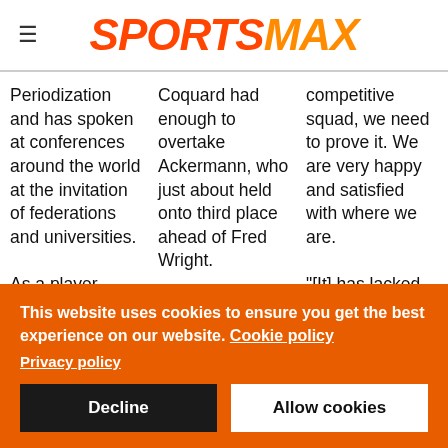SPORTSMAX
Periodization and has spoken at conferences around the world at the invitation of federations and universities.

As a player,
Coquard had enough to overtake Ackermann, who just about held onto third place ahead of Fred Wright.
competitive squad, we need to prove it. We are very happy and satisfied with where we are.

"[It] has lacked some players, [but I am] happy and satisfied.[t...
This website uses cookies to ensure you get the best experience on our website. Cookie policy
Privacy policy
Decline
Allow cookies